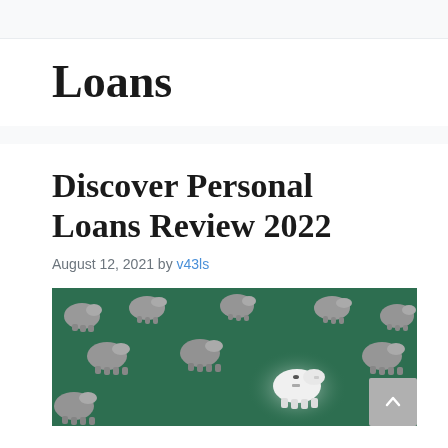Loans
Discover Personal Loans Review 2022
August 12, 2021 by v43ls
[Figure (photo): Multiple gray piggy banks on a green surface, with one white glowing piggy bank in the center]